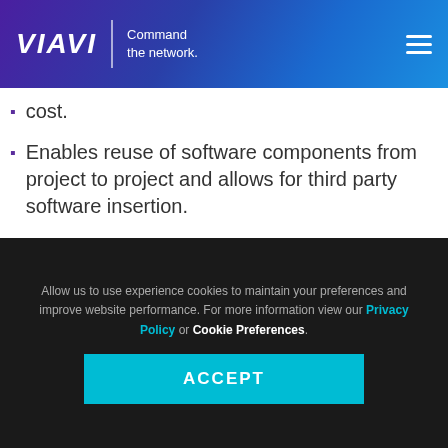[Figure (logo): VIAVI Solutions logo with tagline 'Command the network.' on a blue-purple gradient header bar]
cost.
Enables reuse of software components from project to project and allows for third party software insertion.
Simplifies software updates and upgrades post manufacturing as the SCA infrastructure provides
Allow us to use experience cookies to maintain your preferences and improve website performance. For more information view our Privacy Policy or Cookie Preferences.
ACCEPT